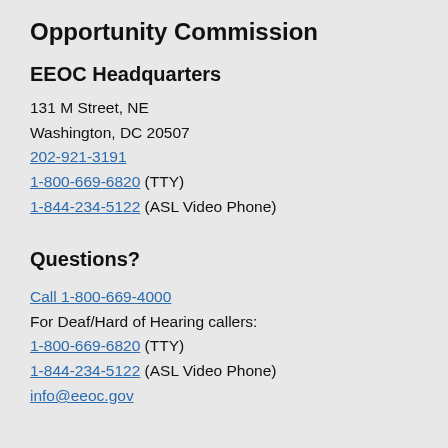Opportunity Commission
EEOC Headquarters
131 M Street, NE
Washington, DC 20507
202-921-3191
1-800-669-6820 (TTY)
1-844-234-5122 (ASL Video Phone)
Questions?
Call 1-800-669-4000
For Deaf/Hard of Hearing callers:
1-800-669-6820 (TTY)
1-844-234-5122 (ASL Video Phone)
info@eeoc.gov